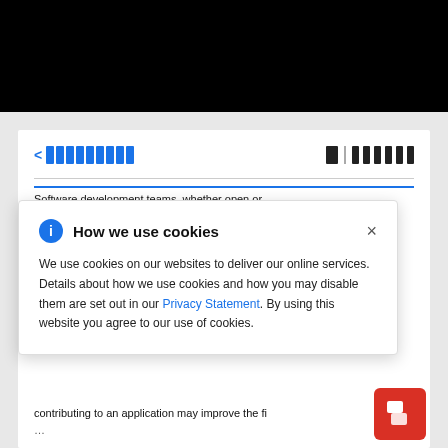[Figure (screenshot): Website screenshot showing a cookie consent modal dialog over a partially visible article page. The modal titled 'How we use cookies' explains cookie usage with a link to Privacy Statement. Background shows navigation bar with blue block icons and partial article text about software development teams.]